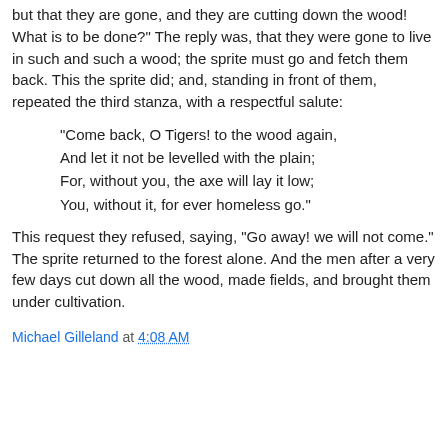but that they are gone, and they are cutting down the wood! What is to be done?" The reply was, that they were gone to live in such and such a wood; the sprite must go and fetch them back. This the sprite did; and, standing in front of them, repeated the third stanza, with a respectful salute:
"Come back, O Tigers! to the wood again,
And let it not be levelled with the plain;
For, without you, the axe will lay it low;
You, without it, for ever homeless go."
This request they refused, saying, "Go away! we will not come." The sprite returned to the forest alone. And the men after a very few days cut down all the wood, made fields, and brought them under cultivation.
Michael Gilleland at 4:08 AM